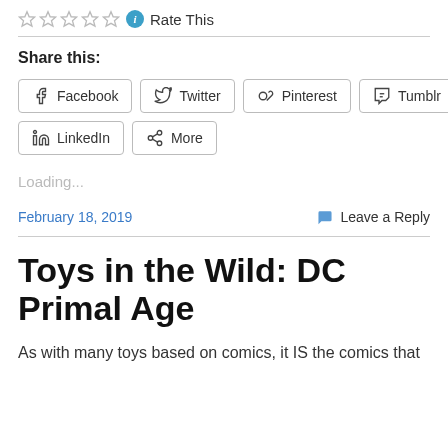Rate This
Share this:
Facebook Twitter Pinterest Tumblr LinkedIn More
Loading...
February 18, 2019
Leave a Reply
Toys in the Wild: DC Primal Age
As with many toys based on comics, it IS the comics that